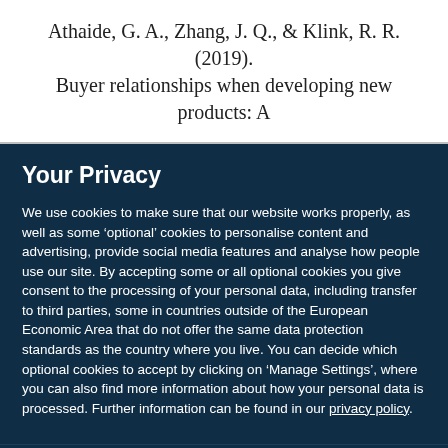Athaide, G. A., Zhang, J. Q., & Klink, R. R. (2019). Buyer relationships when developing new products: A
Your Privacy
We use cookies to make sure that our website works properly, as well as some ‘optional’ cookies to personalise content and advertising, provide social media features and analyse how people use our site. By accepting some or all optional cookies you give consent to the processing of your personal data, including transfer to third parties, some in countries outside of the European Economic Area that do not offer the same data protection standards as the country where you live. You can decide which optional cookies to accept by clicking on ‘Manage Settings’, where you can also find more information about how your personal data is processed. Further information can be found in our privacy policy.
Accept all cookies
Manage preferences